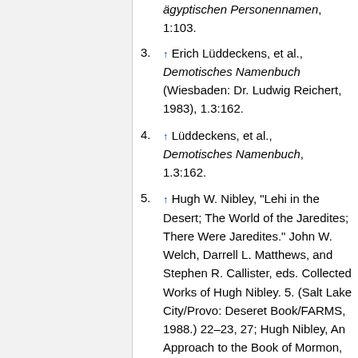(continuation) ägyptischen Personennamen, 1:103.
3. ↑ Erich Lüddeckens, et al., Demotisches Namenbuch (Wiesbaden: Dr. Ludwig Reichert, 1983), 1.3:162.
4. ↑ Lüddeckens, et al., Demotisches Namenbuch, 1.3:162.
5. ↑ Hugh W. Nibley, "Lehi in the Desert; The World of the Jaredites; There Were Jaredites." John W. Welch, Darrell L. Matthews, and Stephen R. Callister, eds. Collected Works of Hugh Nibley. 5. (Salt Lake City/Provo: Deseret Book/FARMS, 1988.) 22–23, 27; Hugh Nibley, An Approach to the Book of Mormon, 3rd ed.